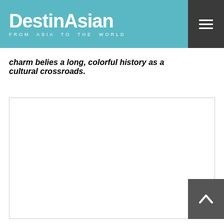DestinAsian FROM ASIA TO THE WORLD
charm belies a long, colorful history as a cultural crossroads.
[Figure (photo): White rectangular image placeholder area with border]
[Figure (other): Back to top button with upward chevron arrow on dark grey background]